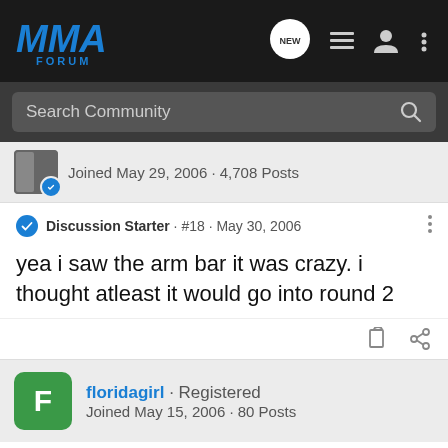[Figure (logo): MMA Forum logo with blue stylized text]
Search Community
Joined May 29, 2006 · 4,708 Posts
Discussion Starter · #18 · May 30, 2006
yea i saw the arm bar it was crazy. i thought atleast it would go into round 2
floridagirl · Registered
Joined May 15, 2006 · 80 Posts